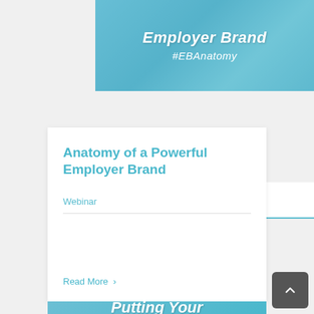[Figure (photo): Office background image with blue tint overlay showing the text 'Employer Brand' and '#EBAnatomy', branded by The Muse]
Anatomy of a Powerful Employer Brand
Webinar
Read More >
[Figure (photo): Partially visible second card with blue tinted background showing 'Putting Your']